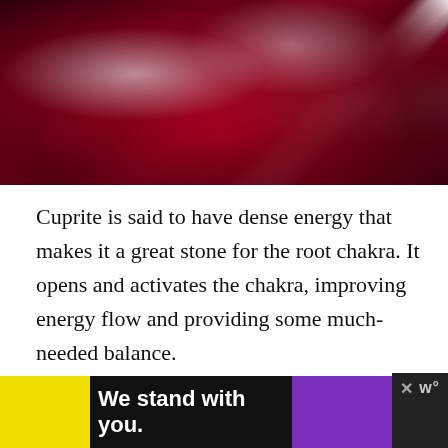[Figure (photo): Close-up photograph of deep red cuprite crystals with faceted surfaces, showing bright red and dark crimson hues with some white/silver reflective areas.]
Cuprite is said to have dense energy that makes it a great stone for the root chakra. It opens and activates the chakra, improving energy flow and providing some much-needed balance.
The stone's effects are best felt by those feeling disconnected from life. Healers often recommend it to those who suffer from